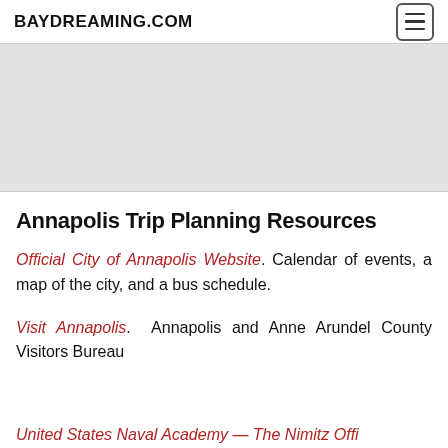BAYDREAMING.COM
[Figure (other): Gray advertisement placeholder block]
Annapolis Trip Planning Resources
Official City of Annapolis Website. Calendar of events, a map of the city, and a bus schedule.
Visit Annapolis. Annapolis and Anne Arundel County Visitors Bureau
United States Naval Academy — The Nimitz Office...